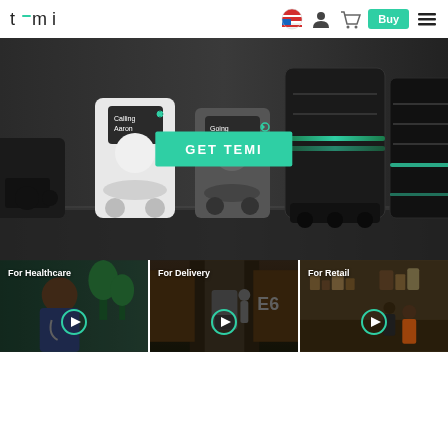[Figure (screenshot): Temi website navigation bar with logo, flag icon, user icon, cart icon, Buy button, and hamburger menu]
[Figure (photo): Hero banner showing multiple Temi robots including white personal robot, dark delivery robot with green accent lights, and shelf robot. A green 'GET TEMI' call-to-action button overlays the center. One robot screen shows 'Calling Aaron' and another shows 'Going To Office'.]
[Figure (screenshot): Three video thumbnail cards side by side: 'For Healthcare' showing a doctor, 'For Delivery' showing a delivery corridor with robot, 'For Retail' showing a retail store. Each has a teal play button circle.]